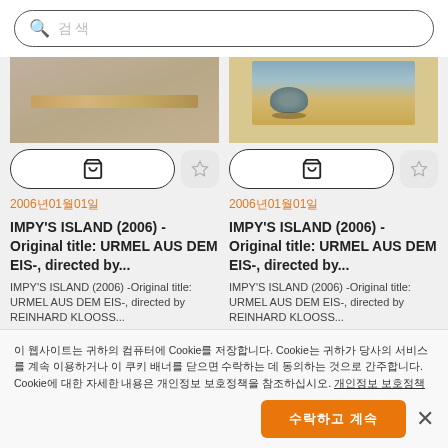검색
[Figure (screenshot): Two product cards showing movie thumbnails for IMPY'S ISLAND (2006) with cart and favorite buttons, date labels, titles and descriptions]
2006년01월01일
IMPY'S ISLAND (2006) - Original title: URMEL AUS DEM EIS-, directed by...
IMPY'S ISLAND (2006) -Original title: URMEL AUS DEM EIS-, directed by REINHARD KLOOSS...
2006년01월01일
IMPY'S ISLAND (2006) - Original title: URMEL AUS DEM EIS-, directed by...
IMPY'S ISLAND (2006) -Original title: URMEL AUS DEM EIS-, directed by REINHARD KLOOSS...
이 웹사이트는 귀하의 컴퓨터에 Cookie를 저장합니다. Cookie는 귀하가 당사의 서비스를 계속 이용하거나 이 쿠키 배너를 닫으면 수락하는 데 동의하는 것으로 간주합니다. Cookie에 대한 자세한 내용은 개인정보 보호정책을 참조하십시오. 개인정보 보호정책
수락하고 계속